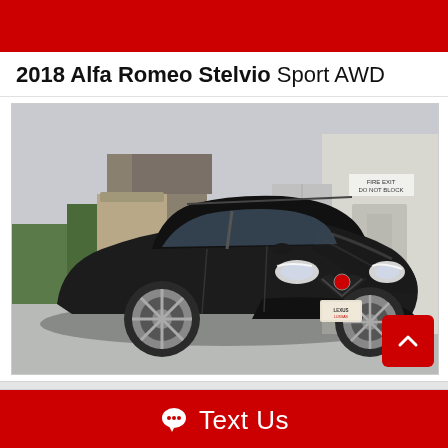2018 Alfa Romeo Stelvio Sport AWD
[Figure (photo): Black 2018 Alfa Romeo Stelvio Sport AWD SUV parked in a lot, front three-quarter view. Background shows a building with a 'Fire Exit Do Not Block' sign and some trees.]
Text Us